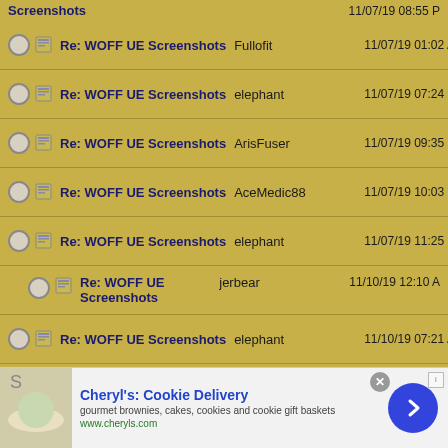Screenshots  11/07/19 08:55 P
Re: WOFF UE Screenshots  Fullofit  11/07/19 01:02 AM
Re: WOFF UE Screenshots  elephant  11/07/19 07:24 PM
Re: WOFF UE Screenshots  ArisFuser  11/07/19 09:35 PM
Re: WOFF UE Screenshots  AceMedic88  11/07/19 10:03 PM
Re: WOFF UE Screenshots  elephant  11/07/19 11:25 PM
Re: WOFF UE Screenshots  jerbear  11/10/19 12:10 AM
Re: WOFF UE Screenshots  elephant  11/10/19 07:21 AM
Re: WOFF UE Screenshots  Robert_Wiggins  11/10/19 10:09 PM
Re: WOFF UE Screenshots  elephant  11/10/19 11:03 PM
Re: WOFF UE Screenshots  elephant  11/15/19 12:29 PM
Re: WOFF UE Screenshots  VonS  12/22/19 07:04 AM
[Figure (screenshot): Advertisement banner for Cheryl's Cookie Delivery showing cookie image, title, description text 'gourmet brownies, cakes, cookies and cookie gift baskets', url www.cheryls.com, close button, and arrow button]